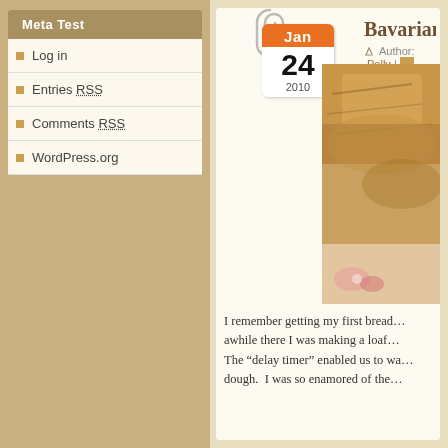Meta Test
Log in
Entries RSS
Comments RSS
WordPress.org
Bavarian Coff...
Author: Polly | cinnamon, coffeecake, y...
[Figure (photo): Close-up photo of a baked Bavarian coffee cake with golden-brown crumb topping, partially visible on the right side]
I remember getting my first bread... awhile there I was making a loaf... The “delay timer” enabled us to wa... dough.  I was so enamored of the...